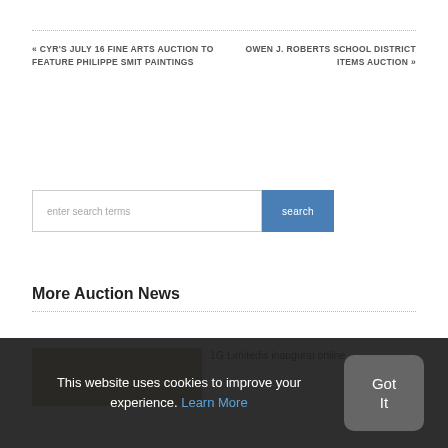« CYR'S JULY 16 FINE ARTS AUCTION TO FEATURE PHILIPPE SMIT PAINTINGS
OWEN J. ROBERTS SCHOOL DISTRICT ITEMS AUCTION »
enter search terms
search
More Auction News
[Figure (photo): Thumbnail image for news article]
1G Limitedis inaugural online
This website uses cookies to improve your experience. Learn More
Got It